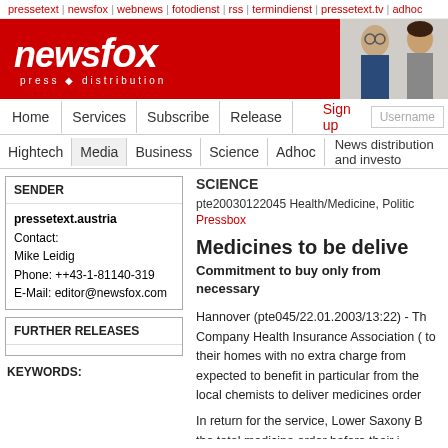pressetext | newsfox | webnews | fotodienst | rss | termindienst | pressetext.tv | adhoc
[Figure (logo): Newsfox press distribution logo — white fox and italic text on red background with photo of business people]
Home | Services | Subscribe | Release | Sign up | Username
Hightech | Media | Business | Science | Adhoc | News distribution and investo
| SENDER |
| --- |
| pressetext.austria |
| Contact: |
| Mike Leidig |
| Phone: ++43-1-81140-319 |
| E-Mail: editor@newsfox.com |
FURTHER RELEASES
KEYWORDS:
SCIENCE
pte20030122045 Health/Medicine, Politic
Pressbox
Medicines to be delive
Commitment to buy only from necessary
Hannover (pte045/22.01.2003/13:22) - The Company Health Insurance Association ( to their homes with no extra charge from expected to benefit in particular from the local chemists to deliver medicines order
In return for the service, Lower Saxony B the total medicine order before their i